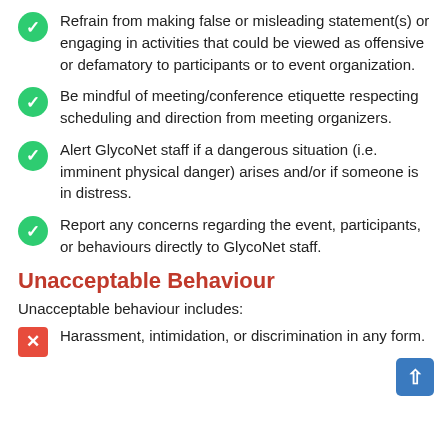Refrain from making false or misleading statement(s) or engaging in activities that could be viewed as offensive or defamatory to participants or to event organization.
Be mindful of meeting/conference etiquette respecting scheduling and direction from meeting organizers.
Alert GlycoNet staff if a dangerous situation (i.e. imminent physical danger) arises and/or if someone is in distress.
Report any concerns regarding the event, participants, or behaviours directly to GlycoNet staff.
Unacceptable Behaviour
Unacceptable behaviour includes:
Harassment, intimidation, or discrimination in any form.